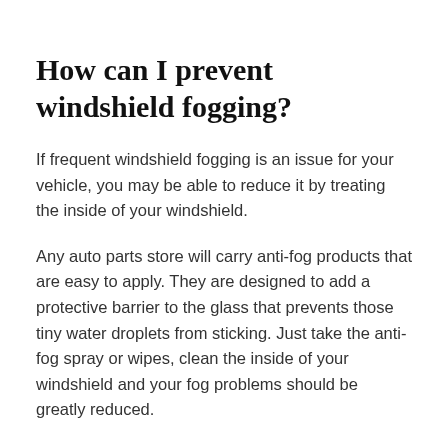How can I prevent windshield fogging?
If frequent windshield fogging is an issue for your vehicle, you may be able to reduce it by treating the inside of your windshield.
Any auto parts store will carry anti-fog products that are easy to apply. They are designed to add a protective barrier to the glass that prevents those tiny water droplets from sticking. Just take the anti-fog spray or wipes, clean the inside of your windshield and your fog problems should be greatly reduced.